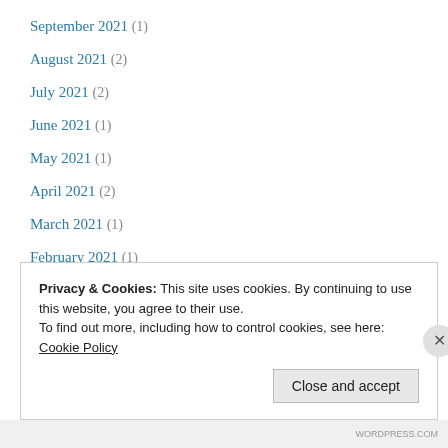September 2021 (1)
August 2021 (2)
July 2021 (2)
June 2021 (1)
May 2021 (1)
April 2021 (2)
March 2021 (1)
February 2021 (1)
January 2021 (2)
Privacy & Cookies: This site uses cookies. By continuing to use this website, you agree to their use.
To find out more, including how to control cookies, see here: Cookie Policy